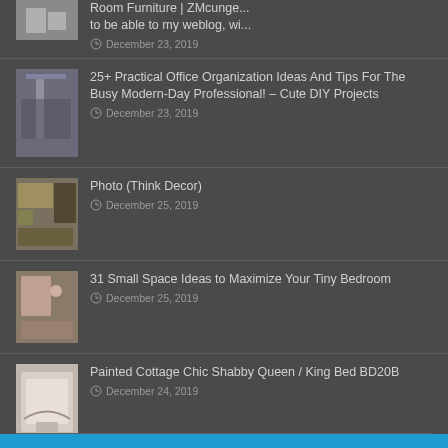Room Furniture | ZMcunge...to be able to my weblog, wi... — December 23, 2019
25+ Practical Office Organization Ideas And Tips For The Busy Modern-Day Professional! – Cute DIY Projects — December 23, 2019
Photo (Think Decor) — December 25, 2019
31 Small Space Ideas to Maximize Your Tiny Bedroom — December 25, 2019
Painted Cottage Chic Shabby Queen / King Bed BD20B — December 24, 2019